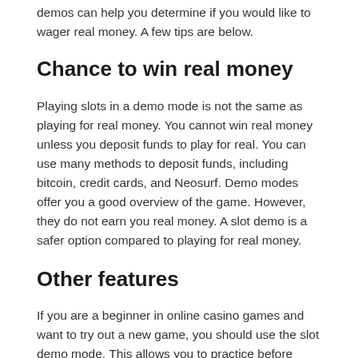demos can help you determine if you would like to wager real money. A few tips are below.
Chance to win real money
Playing slots in a demo mode is not the same as playing for real money. You cannot win real money unless you deposit funds to play for real. You can use many methods to deposit funds, including bitcoin, credit cards, and Neosurf. Demo modes offer you a good overview of the game. However, they do not earn you real money. A slot demo is a safer option compared to playing for real money.
Other features
If you are a beginner in online casino games and want to try out a new game, you should use the slot demo mode. This allows you to practice before committing to a real-money game. Free slot demos show the different symbols that are available in a game. There are also scatter symbols that